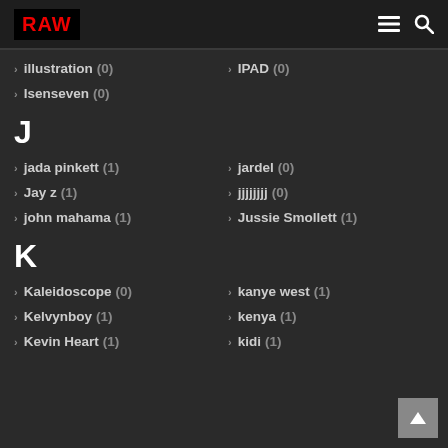RAW
illustration (0)
IPAD (0)
Isenseven (0)
J
jada pinkett (1)
jardel (0)
Jay z (1)
jjjjjjjj (0)
john mahama (1)
Jussie Smollett (1)
K
Kaleidoscope (0)
kanye west (1)
Kelvynboy (1)
kenya (1)
Kevin Heart (1)
kidi (1)